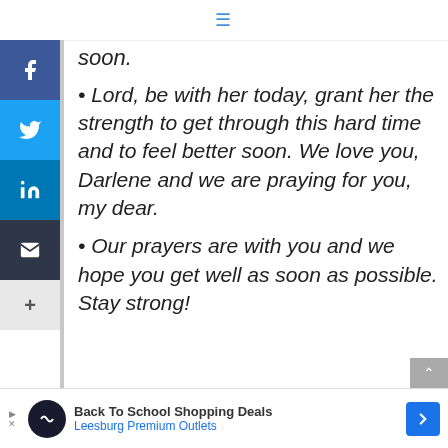≡
soon.
• Lord, be with her today, grant her the strength to get through this hard time and to feel better soon. We love you, Darlene and we are praying for you, my dear.
• Our prayers are with you and we hope you get well as soon as possible. Stay strong!
Back To School Shopping Deals — Leesburg Premium Outlets